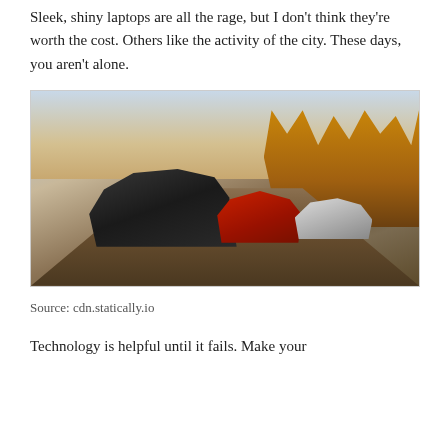Sleek, shiny laptops are all the rage, but I don't think they're worth the cost. Others like the activity of the city. These days, you aren't alone.
[Figure (photo): Three sports cars racing on a road with autumn trees on the right side and mountains with sky in the background. The lead car is black with a large rear spoiler and a license plate reading HORIZON4. Behind it are a red sports car and a silver sports car.]
Source: cdn.statically.io
Technology is helpful until it fails. Make your